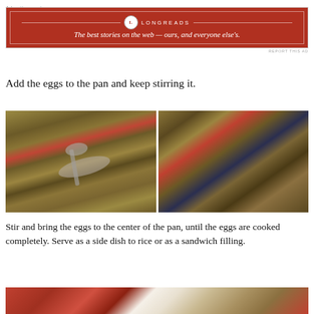Advertisements
[Figure (other): Longreads advertisement banner with red background and tagline: The best stories on the web — ours, and everyone else's.]
REPORT THIS AD
Add the eggs to the pan and keep stirring it.
[Figure (photo): Two side-by-side photos of scrambled eggs being cooked in a pan with vegetables and spices. Left photo shows a spoon stirring the mixture, right photo shows the finished scrambled egg dish.]
Stir and bring the eggs to the center of the pan, until the eggs are cooked completely. Serve as a side dish to rice or as a sandwich filling.
[Figure (photo): Partial photo at bottom showing a wooden cutting board or tray with red background.]